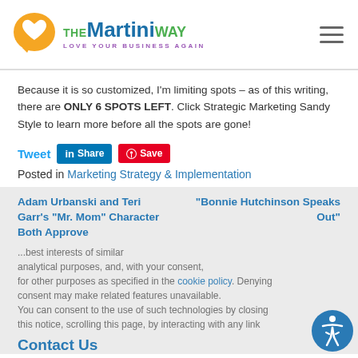[Figure (logo): The Martini Way logo with speech bubble heart icon and tagline LOVE YOUR BUSINESS AGAIN]
Because it is so customized, I'm limiting spots – as of this writing, there are ONLY 6 SPOTS LEFT. Click Strategic Marketing Sandy Style to learn more before all the spots are gone!
Tweet Share Save
Posted in Marketing Strategy & Implementation
Adam Urbanski and Teri Garr's "Mr. Mom" Character Both Approve
"Bonnie Hutchinson Speaks Out"
Contact Us